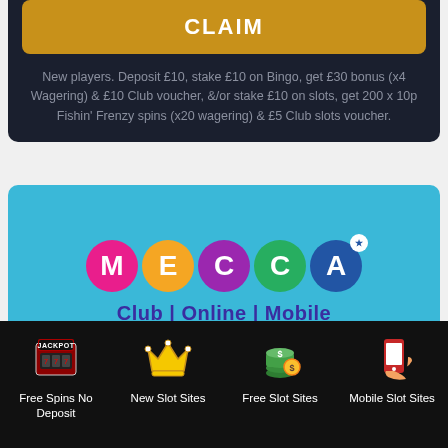CLAIM
New players. Deposit £10, stake £10 on Bingo, get £30 bonus (x4 Wagering) & £10 Club voucher, &/or stake £10 on slots, get 200 x 10p Fishin' Frenzy spins (x20 wagering) & £5 Club slots voucher.
[Figure (logo): Mecca logo with colorful circular letters M-E-C-C-A and tagline Club | Online | Mobile]
Club | Online | Mobile
[Figure (infographic): Bottom navigation bar with four icons: Free Spins No Deposit (slot machine), New Slot Sites (crown), Free Slot Sites (money stack), Mobile Slot Sites (mobile phone)]